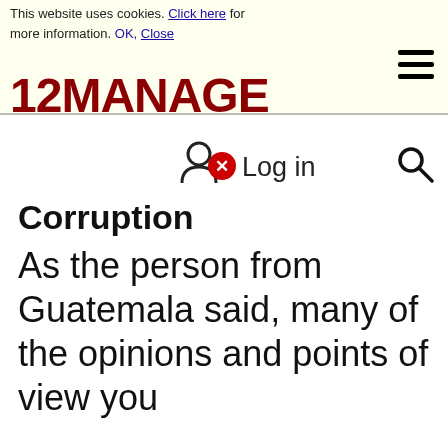This website uses cookies. Click here for more information. OK, Close [hamburger menu] 12MANAGE
Corruption
As the person from Guatemala said, many of the opinions and points of view you